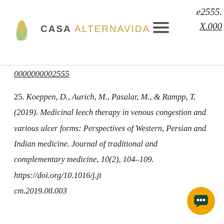CASA ALTERNAVIDA | e2555. X.000 | 0000000002555
0000000002555
25. Koeppen, D., Aurich, M., Pasalar, M., & Rampp, T. (2019). Medicinal leech therapy in venous congestion and various ulcer forms: Perspectives of Western, Persian and Indian medicine. Journal of traditional and complementary medicine, 10(2), 104–109. https://doi.org/10.1016/j.jtcm.2019.08.003